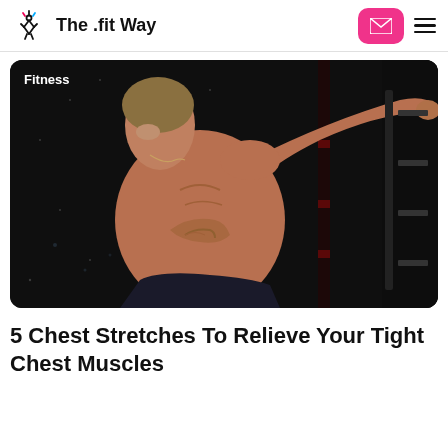The .fit Way
[Figure (photo): A muscular man shirtless performing a chest stretch in a gym, arms extended, photographed against a dark background. 'Fitness' label overlaid in white text on the upper left.]
5 Chest Stretches To Relieve Your Tight Chest Muscles